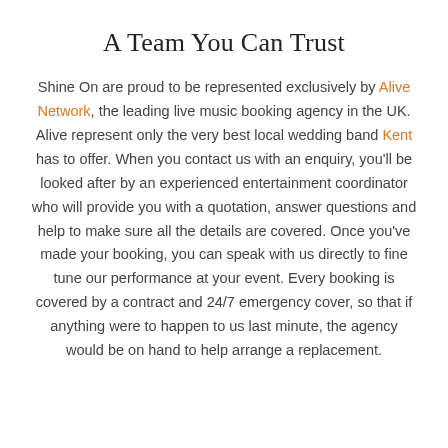A Team You Can Trust
Shine On are proud to be represented exclusively by Alive Network, the leading live music booking agency in the UK. Alive represent only the very best local wedding band Kent has to offer. When you contact us with an enquiry, you'll be looked after by an experienced entertainment coordinator who will provide you with a quotation, answer questions and help to make sure all the details are covered. Once you've made your booking, you can speak with us directly to fine tune our performance at your event. Every booking is covered by a contract and 24/7 emergency cover, so that if anything were to happen to us last minute, the agency would be on hand to help arrange a replacement.